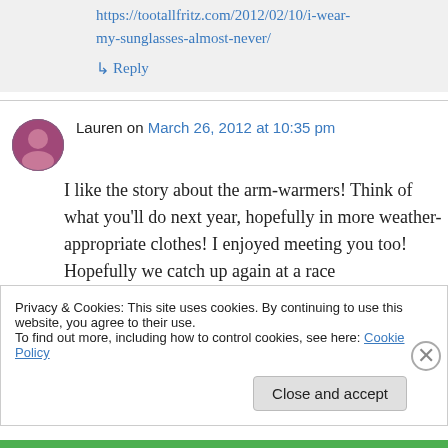https://tootallfritz.com/2012/02/10/i-wear-my-sunglasses-almost-never/
↳ Reply
Lauren on March 26, 2012 at 10:35 pm
I like the story about the arm-warmers! Think of what you'll do next year, hopefully in more weather-appropriate clothes! I enjoyed meeting you too! Hopefully we catch up again at a race
Privacy & Cookies: This site uses cookies. By continuing to use this website, you agree to their use.
To find out more, including how to control cookies, see here: Cookie Policy
Close and accept